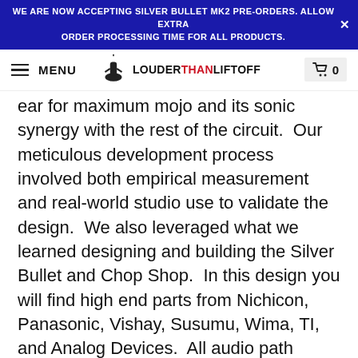WE ARE NOW ACCEPTING SILVER BULLET MK2 PRE-ORDERS. ALLOW EXTRA ORDER PROCESSING TIME FOR ALL PRODUCTS.
MENU | LOUDER THAN LIFTOFF | Cart 0
ear for maximum mojo and its sonic synergy with the rest of the circuit.  Our meticulous development process involved both empirical measurement and real-world studio use to validate the design.  We also leveraged what we learned designing and building the Silver Bullet and Chop Shop.  In this design you will find high end parts from Nichicon, Panasonic, Vishay, Susumu, Wima, TI, and Analog Devices.  All audio path resistors are 0.5% or 0.1% thin film types for low distortion and noise.  Chroma features custom American wound transformers and our very own Rogue Five discrete op